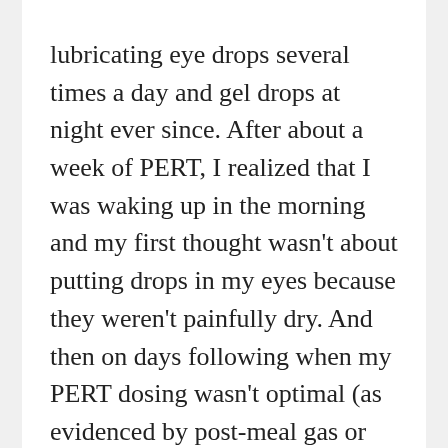lubricating eye drops several times a day and gel drops at night ever since. After about a week of PERT, I realized that I was waking up in the morning and my first thought wasn't about putting drops in my eyes because they weren't painfully dry. And then on days following when my PERT dosing wasn't optimal (as evidenced by post-meal gas or abdominal discomfort, etc), my eyes are more dry than they are on the other days.
Another thing I've noticed is the skin on my face improving. In the